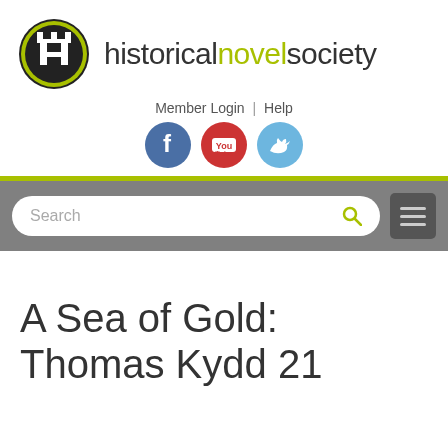[Figure (logo): Historical Novel Society logo: black circle with castle turrets silhouette and white letter H, followed by text 'historicalnovelsociety' with 'novel' in yellow-green]
Member Login | Help
[Figure (infographic): Three social media icons: Facebook (blue circle with f), YouTube (red circle with YouTube logo), Twitter (light blue circle with bird)]
Search
A Sea of Gold: Thomas Kydd 21